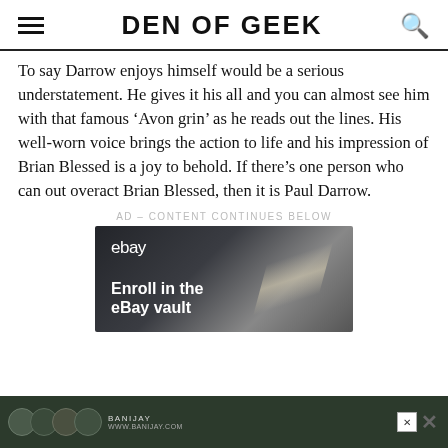DEN OF GEEK
To say Darrow enjoys himself would be a serious understatement. He gives it his all and you can almost see him with that famous ‘Avon grin’ as he reads out the lines. His well-worn voice brings the action to life and his impression of Brian Blessed is a joy to behold. If there’s one person who can out overact Brian Blessed, then it is Paul Darrow.
AD – CONTENT CONTINUES BELOW
[Figure (screenshot): eBay advertisement banner with dark gradient background and diagonal light streak, showing eBay logo and text 'Enroll in the eBay vault']
[Figure (screenshot): Bottom advertisement bar for Banijay showing group of people against a cityscape background with site URL and close button]